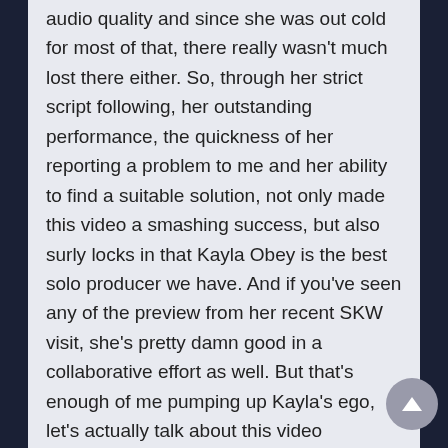audio quality and since she was out cold for most of that, there really wasn't much lost there either. So, through her strict script following, her outstanding performance, the quickness of her reporting a problem to me and her ability to find a suitable solution, not only made this video a smashing success, but also surly locks in that Kayla Obey is the best solo producer we have. And if you've seen any of the preview from her recent SKW visit, she's pretty damn good in a collaborative effort as well. But that's enough of me pumping up Kayla's ego, let's actually talk about this video specifically for a moment. I love the strip boxing rules, of course, because I made them, but it gives us multiple KOs, with Kayla onl being capable of removing the first two clothing